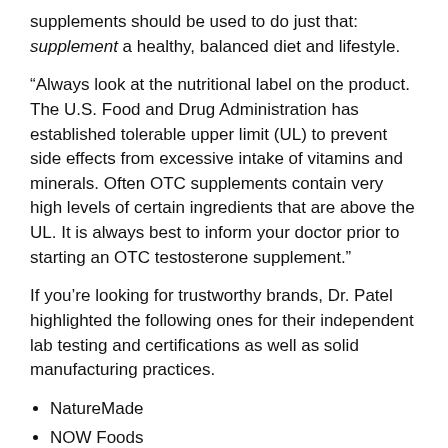supplements should be used to do just that: supplement a healthy, balanced diet and lifestyle.
“Always look at the nutritional label on the product. The U.S. Food and Drug Administration has established tolerable upper limit (UL) to prevent side effects from excessive intake of vitamins and minerals. Often OTC supplements contain very high levels of certain ingredients that are above the UL. It is always best to inform your doctor prior to starting an OTC testosterone supplement.”
If you’re looking for trustworthy brands, Dr. Patel highlighted the following ones for their independent lab testing and certifications as well as solid manufacturing practices.
NatureMade
NOW Foods
Natrol